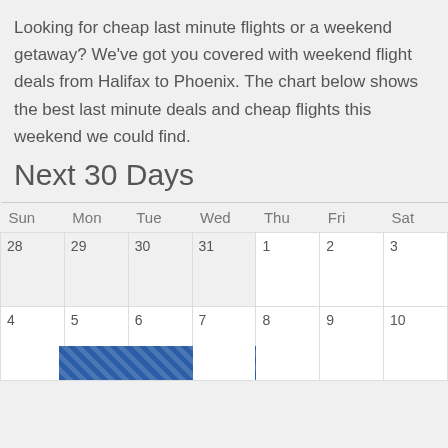Looking for cheap last minute flights or a weekend getaway? We've got you covered with weekend flight deals from Halifax to Phoenix. The chart below shows the best last minute deals and cheap flights this weekend we could find.
Next 30 Days
| Sun | Mon | Tue | Wed | Thu | Fri | Sat |
| --- | --- | --- | --- | --- | --- | --- |
| 28 | 29 | 30 | 31 | 1 | 2 | 3 | $667 |
| 4 | $667 | 5 | 6 | 7 | 8 | 9 | 10 |